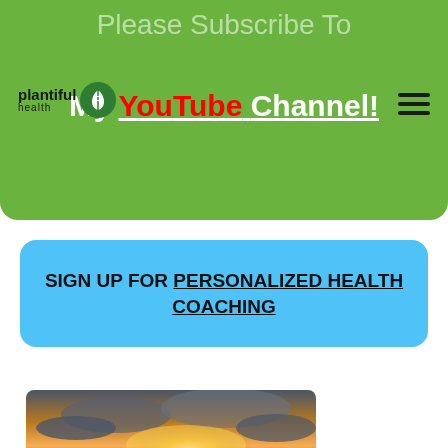[Figure (screenshot): Green banner with 'Please Subscribe To My YouTube Channel!' text and Plantiful Health logo]
SIGN UP FOR PERSONALIZED HEALTH COACHING
[Figure (photo): A vehicle driving on a dusty road at sunset with dramatic cloudy sky]